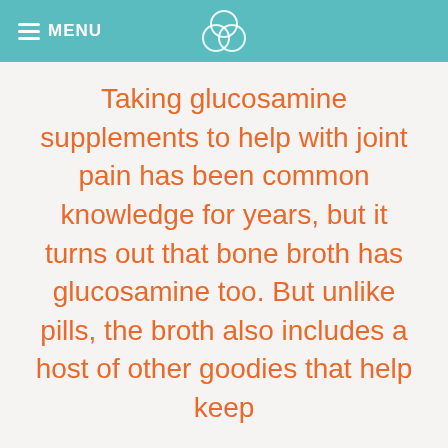MENU
Taking glucosamine supplements to help with joint pain has been common knowledge for years, but it turns out that bone broth has glucosamine too. But unlike pills, the broth also includes a host of other goodies that help keep